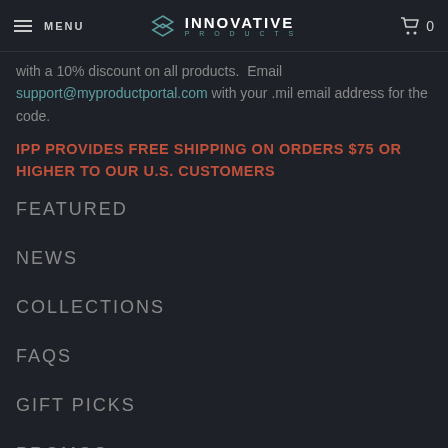MENU | INNOVATIVE PRODUCTS | 0
with a 10% discount on all products. Email support@myproductportal.com with your .mil email address for the code.
IPP PROVIDES FREE SHIPPING ON ORDERS $75 OR HIGHER TO OUR U.S. CUSTOMERS
FEATURED
NEWS
COLLECTIONS
FAQS
GIFT PICKS
PROMOS